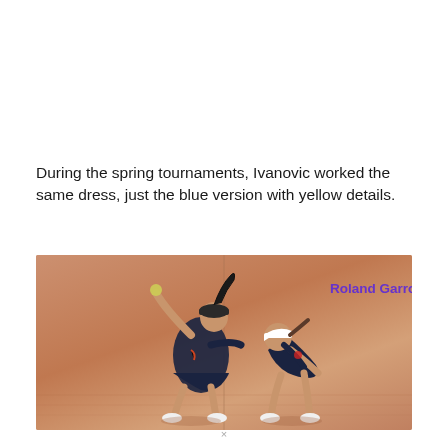During the spring tournaments, Ivanovic worked the same dress, just the blue version with yellow details.
[Figure (photo): Two female tennis players on a clay court (Roland Garros). Left player is mid-serve with dark navy outfit, right player is bent forward in dark navy outfit with white visor. Text 'Roland Garros' appears in purple in upper right of image.]